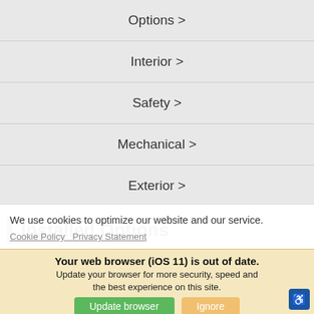Options >
Interior >
Safety >
Mechanical >
Exterior >
Installed Options
Tires – 275/55r20 all-terrain    $300
We use cookies to optimize our website and our service.
Cookie Policy   Privacy Statement
Your web browser (iOS 11) is out of date. Update your browser for more security, speed and the best experience on this site.